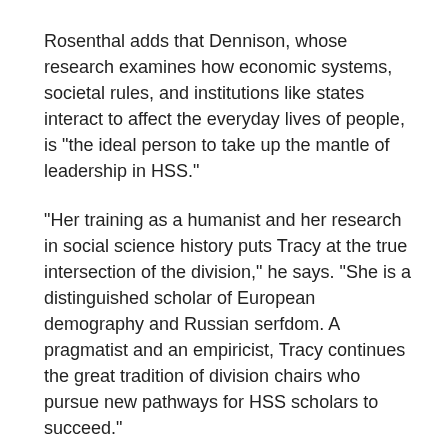Rosenthal adds that Dennison, whose research examines how economic systems, societal rules, and institutions like states interact to affect the everyday lives of people, is "the ideal person to take up the mantle of leadership in HSS."
"Her training as a humanist and her research in social science history puts Tracy at the true intersection of the division," he says. "She is a distinguished scholar of European demography and Russian serfdom. A pragmatist and an empiricist, Tracy continues the great tradition of division chairs who pursue new pathways for HSS scholars to succeed."
Dennison earned her bachelor's degree at Bucknell University in Pennsylvania in 1992, her M.Phil. in economic and social history from the University of Oxford in 1999, and her doctorate from the University of